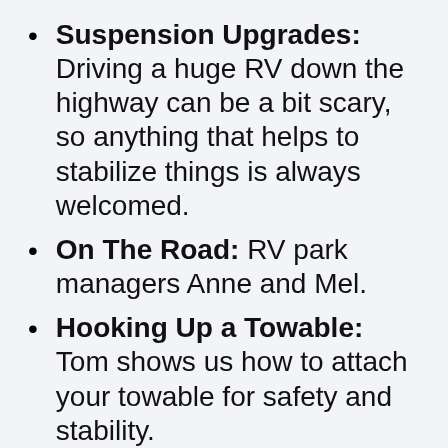Suspension Upgrades: Driving a huge RV down the highway can be a bit scary, so anything that helps to stabilize things is always welcomed.
On The Road: RV park managers Anne and Mel.
Hooking Up a Towable: Tom shows us how to attach your towable for safety and stability.